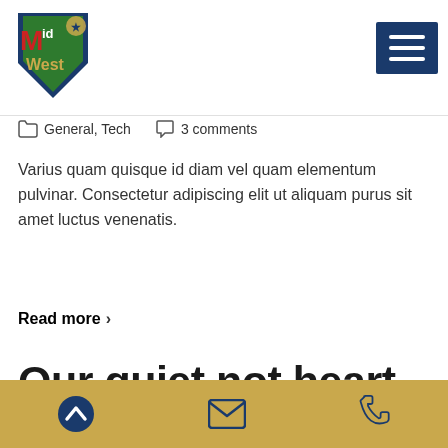[Figure (logo): MidWest logo with shield and text]
General, Tech   3 comments
Varius quam quisque id diam vel quam elementum pulvinar. Consectetur adipiscing elit ut aliquam purus sit amet luctus venenatis.
Read more >
Our quiet not heart along scale sense time
Footer bar with up arrow, email, and phone icons